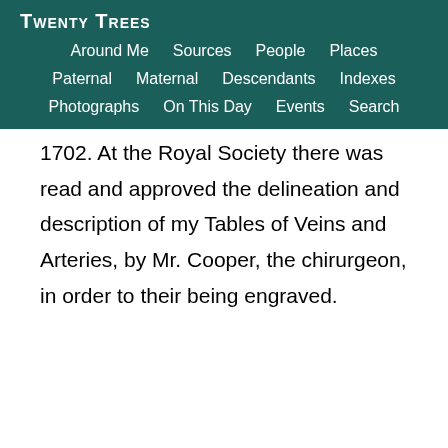Twenty Trees
Around Me  Sources  People  Places  Paternal  Maternal  Descendants  Indexes  Photographs  On This Day  Events  Search
1702. At the Royal Society there was read and approved the delineation and description of my Tables of Veins and Arteries, by Mr. Cooper, the chirurgeon, in order to their being engraved.